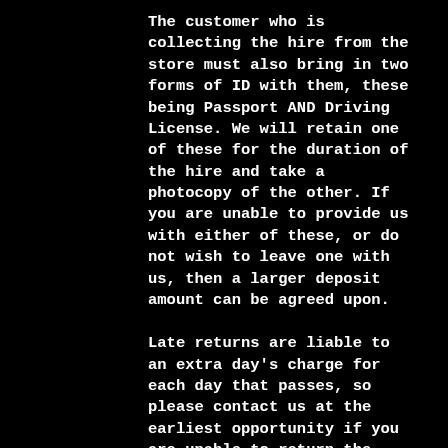The customer who is collecting the hire from the store must also bring in two forms of ID with them, these being Passport AND Driving License. We will retain one of these for the duration of the hire and take a photocopy of the other. If you are unable to provide us with either of these, or do not wish to leave one with us, then a larger deposit amount can be agreed upon.
Late returns are liable to an extra day's charge for each day that passes, so please contact us at the earliest opportunity if you are unable to return the equipment on the agreed date.
The equipment supplied will be hired by the customer at their own